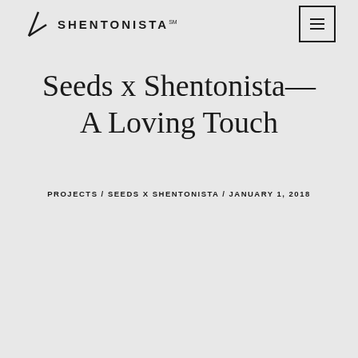SHENTONISTA
Seeds x Shentonista—A Loving Touch
PROJECTS / SEEDS X SHENTONISTA / JANUARY 1, 2018